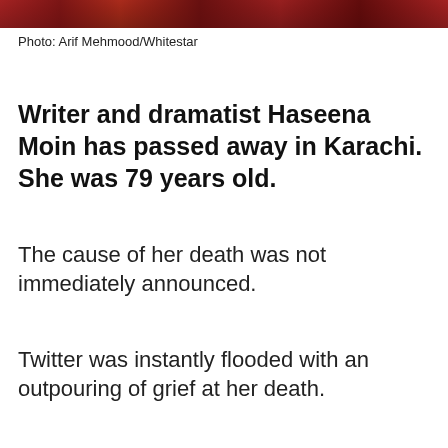[Figure (photo): Partial photo strip at top of page showing a person in red/dark clothing]
Photo: Arif Mehmood/Whitestar
Writer and dramatist Haseena Moin has passed away in Karachi. She was 79 years old.
The cause of her death was not immediately announced.
Twitter was instantly flooded with an outpouring of grief at her death.